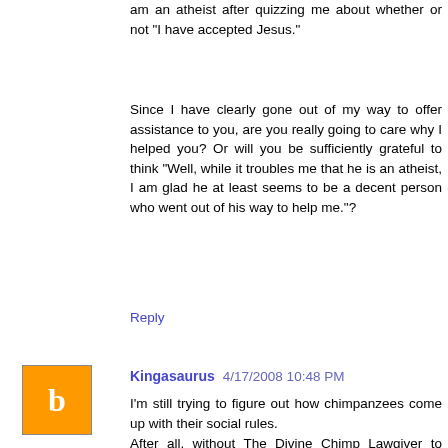am an atheist after quizzing me about whether or not "I have accepted Jesus."
Since I have clearly gone out of my way to offer assistance to you, are you really going to care why I helped you? Or will you be sufficiently grateful to think "Well, while it troubles me that he is an atheist, I am glad he at least seems to be a decent person who went out of his way to help me."?
Reply
Kingasaurus 4/17/2008 10:48 PM
I'm still trying to figure out how chimpanzees come up with their social rules.
After all, without The Divine Chimp Lawgiver to come down from the mountain and explain to them exactly how they should behave, I'm wondering how they manage at all. They do things like share food, cooperate in hunting, mutual grooming, and socially punishing chimps who "misbehave"